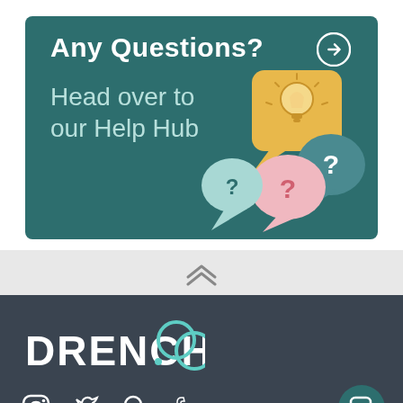[Figure (infographic): Teal banner with 'Any Questions?' heading, arrow icon, 'Head over to our Help Hub' subtext, and speech bubble illustrations with question marks and lightbulb]
[Figure (other): Light grey divider bar with double chevron up arrow]
[Figure (logo): Drench logo in white bold text with teal circular overlapping rings symbol on dark background]
[Figure (other): Social media icons for Instagram, Twitter, Pinterest, Facebook in white, and teal chat button]
About Us
Customer Services